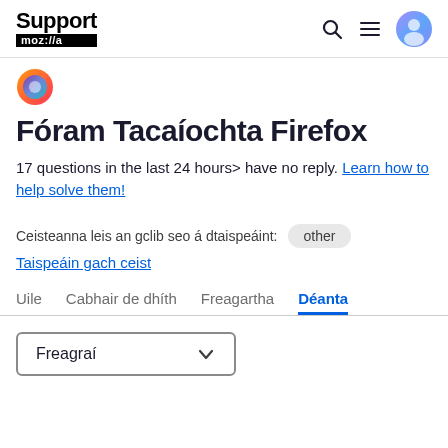Support moz://a
[Figure (logo): Firefox browser logo (flame/orbit icon)]
Fóram Tacaíochta Firefox
17 questions in the last 24 hours> have no reply. Learn how to help solve them!
Ceisteanna leis an gclib seo á dtaispeáint: other
Taispeáin gach ceist
Uile   Cabhair de dhíth   Freagartha   Déanta
Freagraí